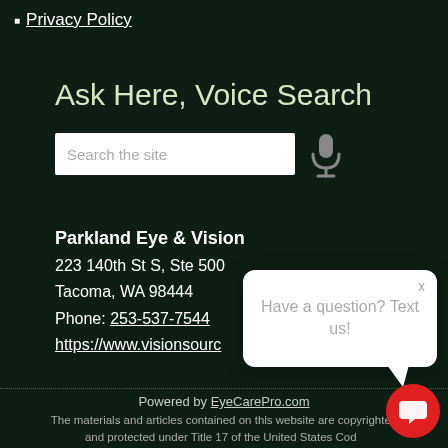Privacy Policy
Ask Here, Voice Search
[Figure (screenshot): Search input box with placeholder text 'Search the site' and a microphone icon for voice search]
Parkland Eye & Vision
223 140th St S, Ste 500
Tacoma, WA 98444
Phone: 253-537-7544
https://www.visionsourc...
[Figure (screenshot): Chat popup overlay with text 'Have a question? Text us!' and a close X button, with a speech bubble tail]
Powered by EyeCarePro.com
The materials and articles contained on this website are copyrighted and protected under Title 17 of the United States Cod...
Sitemap | Email Accessibility | Website Accessibility Policy |